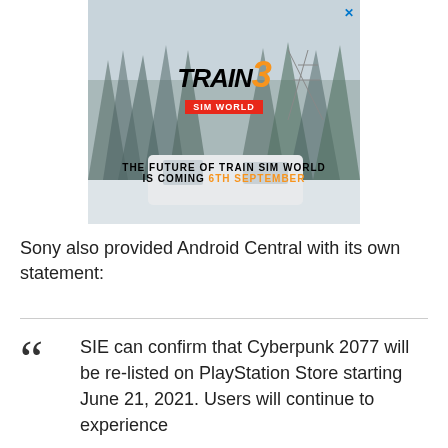[Figure (illustration): Advertisement for Train Sim World 3 game, showing a snowy winter scene with a train and text 'THE FUTURE OF TRAIN SIM WORLD IS COMING 6TH SEPTEMBER']
Sony also provided Android Central with its own statement:
SIE can confirm that Cyberpunk 2077 will be re-listed on PlayStation Store starting June 21, 2021. Users will continue to experience...